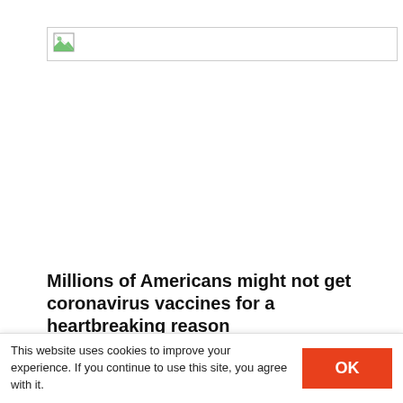[Figure (screenshot): Broken image placeholder icon in a rectangular container at the top of the page]
Millions of Americans might not get coronavirus vaccines for a heartbreaking reason
[Figure (screenshot): Gray video/image thumbnail with overlay text 'Doctors start' and broken image icons on corners]
This website uses cookies to improve your experience. If you continue to use this site, you agree with it.